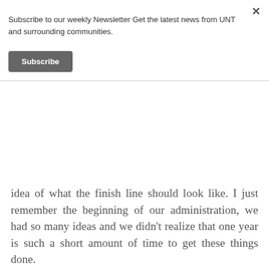Subscribe to our weekly Newsletter Get the latest news from UNT and surrounding communities.
Subscribe
idea of what the finish line should look like. I just remember the beginning of our administration, we had so many ideas and we didn't realize that one year is such a short amount of time to get these things done.
Time goes by so quickly. Before you know it, it'll be the end of the year. The biggest thing is to just be cognizant of how long you have in office and use this time to just maximize your time as much as possible and remember it's all about the legacy that you leave. It is really important how many people you've impacted.